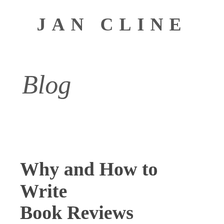JAN CLINE
Blog
Why and How to Write Book Reviews